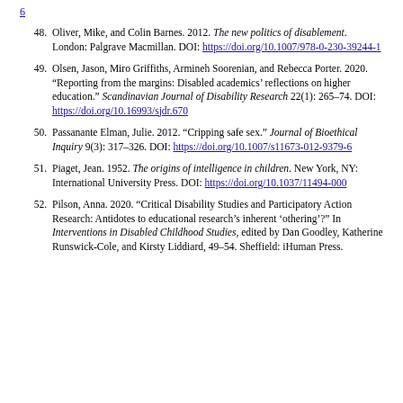6 [hyperlink continuation from previous page]
48. Oliver, Mike, and Colin Barnes. 2012. The new politics of disablement. London: Palgrave Macmillan. DOI: https://doi.org/10.1007/978-0-230-39244-1
49. Olsen, Jason, Miro Griffiths, Armineh Soorenian, and Rebecca Porter. 2020. “Reporting from the margins: Disabled academics’ reflections on higher education.” Scandinavian Journal of Disability Research 22(1): 265–74. DOI: https://doi.org/10.16993/sjdr.670
50. Passanante Elman, Julie. 2012. “Cripping safe sex.” Journal of Bioethical Inquiry 9(3): 317–326. DOI: https://doi.org/10.1007/s11673-012-9379-6
51. Piaget, Jean. 1952. The origins of intelligence in children. New York, NY: International University Press. DOI: https://doi.org/10.1037/11494-000
52. Pilson, Anna. 2020. “Critical Disability Studies and Participatory Action Research: Antidotes to educational research’s inherent ‘othering’?” In Interventions in Disabled Childhood Studies, edited by Dan Goodley, Katherine Runswick-Cole, and Kirsty Liddiard, 49–54. Sheffield: iHuman Press.